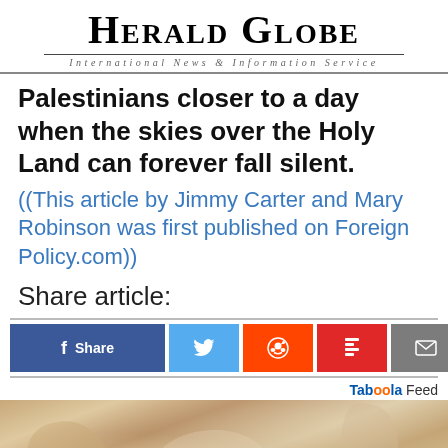[Figure (logo): Herald Globe newspaper masthead logo with blackletter title and subtitle 'International News & Information Service']
Palestinians closer to a day when the skies over the Holy Land can forever fall silent.
((This article by Jimmy Carter and Mary Robinson was first published on Foreign Policy.com))
Share article:
[Figure (infographic): Social share buttons: Facebook Share, Twitter, Reddit, Flipboard, Email]
Taboola Feed
[Figure (photo): Blurred close-up photo of a woman in lace lingerie]